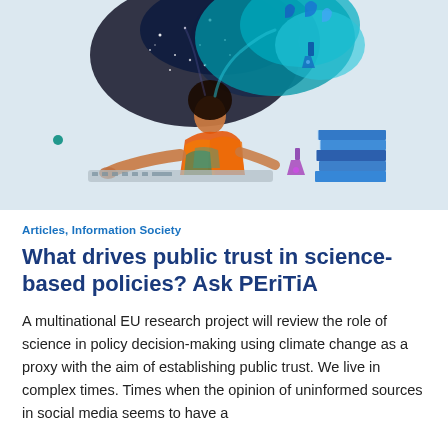[Figure (illustration): Watercolor illustration of a person sitting and working/typing at a desk, with a large colorful abstract thought cloud emerging from their head containing science imagery (stars, moon, water drops, chemical flasks). Stacks of blue books are on the right side. The background is a pale blue-grey.]
Articles, Information Society
What drives public trust in science-based policies? Ask PEriTiA
A multinational EU research project will review the role of science in policy decision-making using climate change as a proxy with the aim of establishing public trust. We live in complex times. Times when the opinion of uninformed sources in social media seems to have a